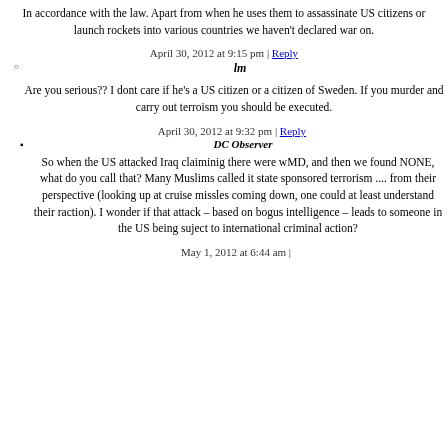In accordance with the law. Apart from when he uses them to assassinate US citizens or launch rockets into various countries we haven't declared war on.
April 30, 2012 at 9:15 pm | Reply
lm
Are you serious?? I dont care if he's a US citizen or a citizen of Sweden. If you murder and carry out terroism you should be executed.
April 30, 2012 at 9:32 pm | Reply
DC Observer
So when the US attacked Iraq claiminig there were wMD, and then we found NONE, what do you call that? Many Muslims called it state sponsored terrorism .... from their perspective (looking up at cruise missles coming down, one could at least understand their raction). I wonder if that attack – based on bogus intelligence – leads to someone in the US being suject to international criminal action?
May 1, 2012 at 6:44 am |